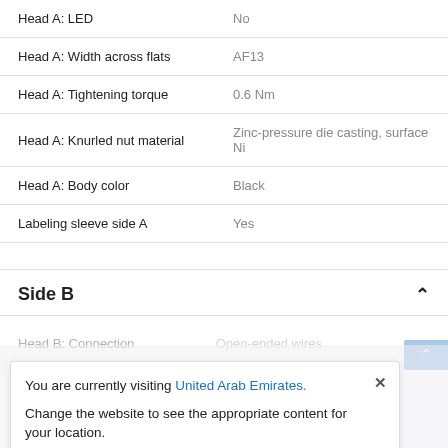| Property | Value |
| --- | --- |
| Head A: LED | No |
| Head A: Width across flats | AF13 |
| Head A: Tightening torque | 0.6 Nm |
| Head A: Knurled nut material | Zinc-pressure die casting, surface Ni |
| Head A: Body color | Black |
| Labeling sleeve side A | Yes |
Side B
Head B: Connection   Open-ended wires
You are currently visiting United Arab Emirates.
Change the website to see the appropriate content for your location.
Visit Website USA →